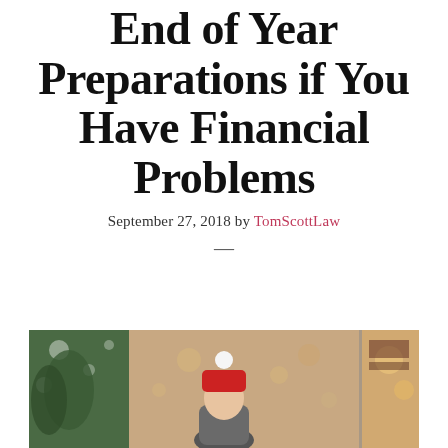End of Year Preparations if You Have Financial Problems
September 27, 2018 by TomScottLaw
[Figure (photo): Person wearing a red knit winter hat standing outdoors near holiday greenery and a shop window with bokeh background lighting]